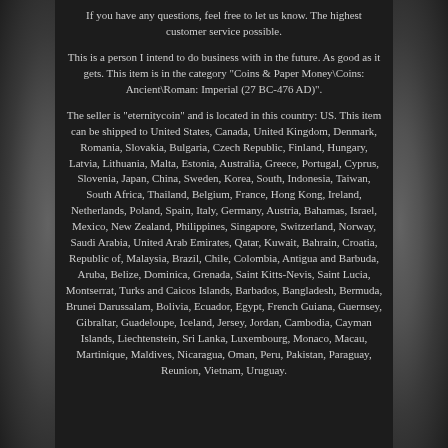If you have any questions, feel free to let us know. The highest customer service possible.
This is a person I intend to do business with in the future. As good as it gets. This item is in the category "Coins & Paper Money\Coins: Ancient\Roman: Imperial (27 BC-476 AD)".
The seller is "eternitycoin" and is located in this country: US. This item can be shipped to United States, Canada, United Kingdom, Denmark, Romania, Slovakia, Bulgaria, Czech Republic, Finland, Hungary, Latvia, Lithuania, Malta, Estonia, Australia, Greece, Portugal, Cyprus, Slovenia, Japan, China, Sweden, Korea, South, Indonesia, Taiwan, South Africa, Thailand, Belgium, France, Hong Kong, Ireland, Netherlands, Poland, Spain, Italy, Germany, Austria, Bahamas, Israel, Mexico, New Zealand, Philippines, Singapore, Switzerland, Norway, Saudi Arabia, United Arab Emirates, Qatar, Kuwait, Bahrain, Croatia, Republic of, Malaysia, Brazil, Chile, Colombia, Antigua and Barbuda, Aruba, Belize, Dominica, Grenada, Saint Kitts-Nevis, Saint Lucia, Montserrat, Turks and Caicos Islands, Barbados, Bangladesh, Bermuda, Brunei Darussalam, Bolivia, Ecuador, Egypt, French Guiana, Guernsey, Gibraltar, Guadeloupe, Iceland, Jersey, Jordan, Cambodia, Cayman Islands, Liechtenstein, Sri Lanka, Luxembourg, Monaco, Macau, Martinique, Maldives, Nicaragua, Oman, Peru, Pakistan, Paraguay, Reunion, Vietnam, Uruguay.